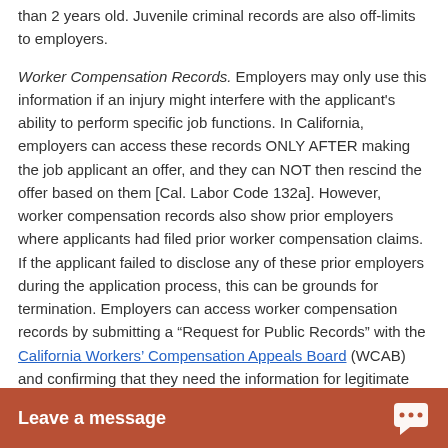than 2 years old. Juvenile criminal records are also off-limits to employers.
Worker Compensation Records. Employers may only use this information if an injury might interfere with the applicant's ability to perform specific job functions. In California, employers can access these records ONLY AFTER making the job applicant an offer, and they can NOT then rescind the offer based on them [Cal. Labor Code 132a]. However, worker compensation records also show prior employers where applicants had filed prior worker compensation claims. If the applicant failed to disclose any of these prior employers during the application process, this can be grounds for termination. Employers can access worker compensation records by submitting a “Request for Public Records” with the California Workers' Compensation Appeals Board (WCAB) and confirming that they need the information for legitimate reasons.
References. Employers can speak to references, including past employers, friends, neighbors or associates, about your character, general reputation, personal characteristics, and mode of living. [Cal. C...
[Figure (other): Orange chat widget bar at bottom of page reading 'Leave a message' with a chat bubble icon on the right.]